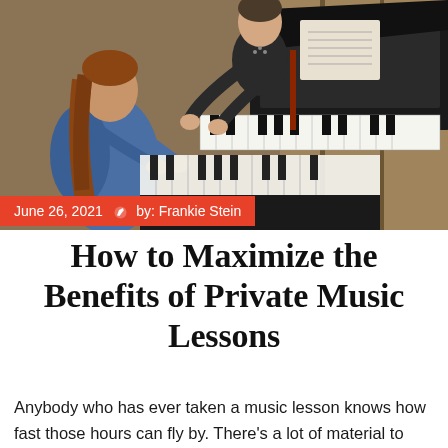[Figure (photo): A piano teacher helping a young student play piano, with music sheets on the piano stand in the background]
June 26, 2021  ✎  by: Frankie Stein
How to Maximize the Benefits of Private Music Lessons
Anybody who has ever taken a music lesson knows how fast those hours can fly by. There's a lot of material to digest in that period, but if